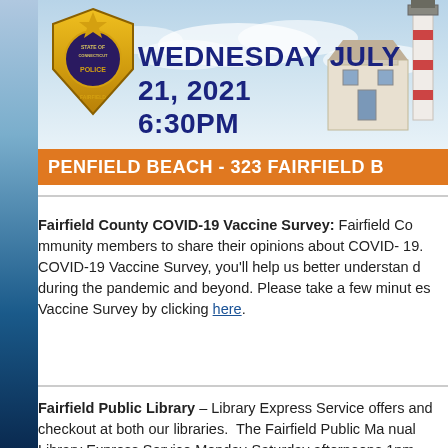[Figure (illustration): Police badge with Fairfield Connecticut text, event banner showing Wednesday July 21 2021 6:30PM, with lighthouse photo and sky background, orange bar reading PENFIELD BEACH - 323 FAIRFIELD]
Fairfield County COVID-19 Vaccine Survey: Fairfield County community members to share their opinions about COVID-19. COVID-19 Vaccine Survey, you'll help us better understand during the pandemic and beyond. Please take a few minutes Vaccine Survey by clicking here.
Fairfield Public Library – Library Express Service offers and checkout at both our libraries. The Fairfield Public Ma Library Express Service Monday-Saturday afternoons 1pm